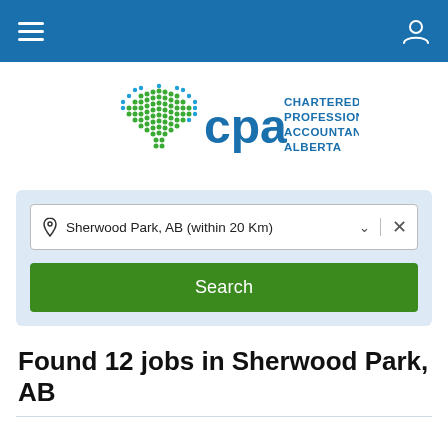CPA Alberta navigation bar
[Figure (logo): CPA Alberta logo: green maple leaf made of dots beside blue 'cpa' text and 'CHARTERED PROFESSIONAL ACCOUNTANTS ALBERTA' in blue]
Sherwood Park, AB (within 20 Km)
Search
Found 12 jobs in Sherwood Park, AB